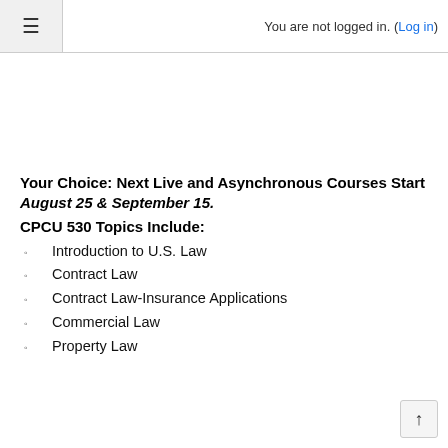You are not logged in. (Log in)
Your Choice: Next Live and Asynchronous Courses Start August 25 & September 15.
CPCU 530 Topics Include:
Introduction to U.S. Law
Contract Law
Contract Law-Insurance Applications
Commercial Law
Property Law